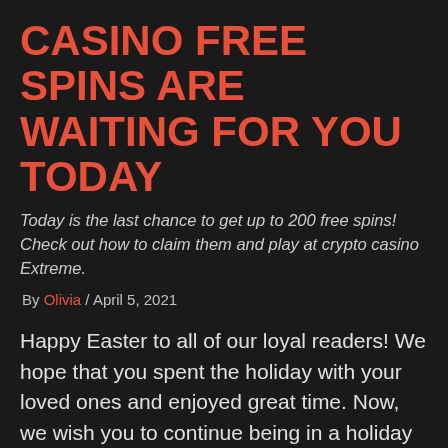CASINO FREE SPINS ARE WAITING FOR YOU TODAY
Today is the last chance to get up to 200 free spins! Check out how to claim them and play at crypto casino Extreme.
By Olivia / April 5, 2021
Happy Easter to all of our loyal readers! We hope that you spent the holiday with your loved ones and enjoyed great time. Now, we wish you to continue being in a holiday mood. Therefore, we have prepared for you some big casino bonuses with excellent offers. Starting from yesterday, every two days offer will change and it means you still have the chance to get many casino